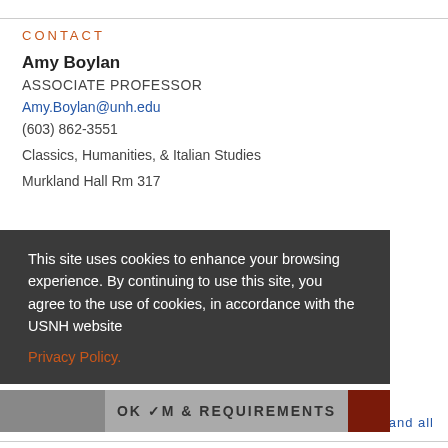CONTACT
Amy Boylan
ASSOCIATE PROFESSOR
Amy.Boylan@unh.edu
(603) 862-3551
Classics, Humanities, & Italian Studies
Murkland Hall Rm 317
Durham, NH 03824
This site uses cookies to enhance your browsing experience. By continuing to use this site, you agree to the use of cookies, in accordance with the USNH website Privacy Policy.
OK ✓
CURRICULUM & REQUIREMENTS
expand all